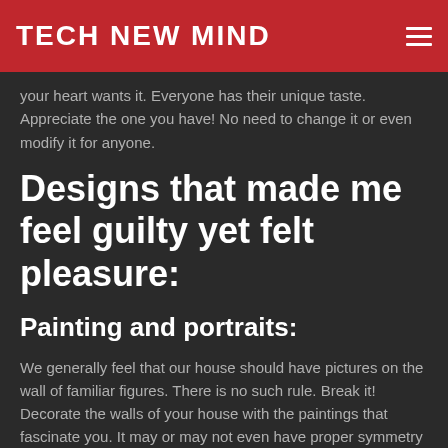TECH NEW MIND
your heart wants it. Everyone has their unique taste. Appreciate the one you have! No need to change it or even modify it for anyone.
Designs that made me feel guilty yet felt pleasure:
Painting and portraits:
We generally feel that our house should have pictures on the wall of familiar figures. There is no such rule. Break it! Decorate the walls of your house with the paintings that fascinate you. It may or may not even have proper symmetry or may have curved and abstract figures, but